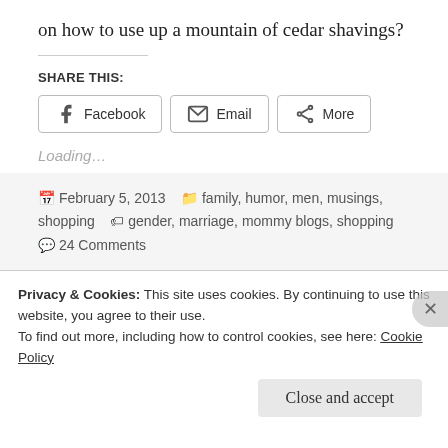on how to use up a mountain of cedar shavings?
SHARE THIS:
Loading…
February 5, 2013   family, humor, men, musings, shopping   gender, marriage, mommy blogs, shopping   24 Comments
Privacy & Cookies: This site uses cookies. By continuing to use this website, you agree to their use.
To find out more, including how to control cookies, see here: Cookie Policy
Close and accept